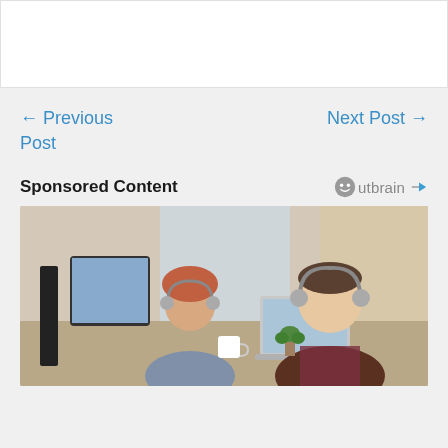[Figure (photo): White content area top of page (blank)]
← Previous Post
Next Post →
Sponsored Content
[Figure (logo): Outbrain logo with smiley face icon and play button icon]
[Figure (photo): Office workers with headphones sitting at computer workstations]